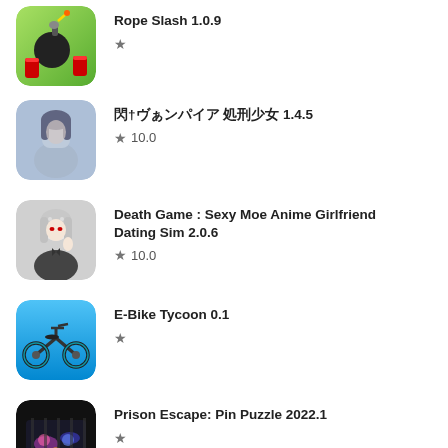Rope Slash 1.0.9 ★
†ヴぱンパイア 処刑少女 1.4.5 ★ 10.0
Death Game : Sexy Moe Anime Girlfriend Dating Sim 2.0.6 ★ 10.0
E-Bike Tycoon 0.1 ★
Prison Escape: Pin Puzzle 2022.1 ★